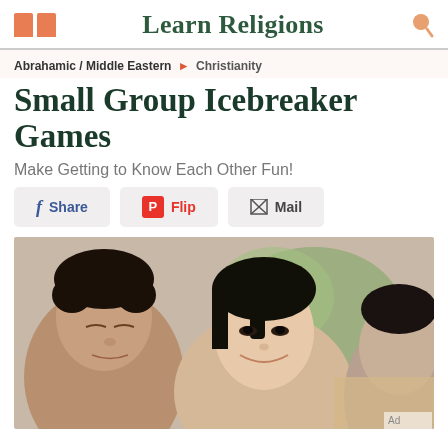Learn Religions
Abrahamic / Middle Eastern > Christianity
Small Group Icebreaker Games
Make Getting to Know Each Other Fun!
Share | Flip | Mail
[Figure (photo): Group of people sitting together, appearing to be in a small group setting. Close-up photo showing several faces including a man with curly hair, an Asian woman smiling, and another person partially visible.]